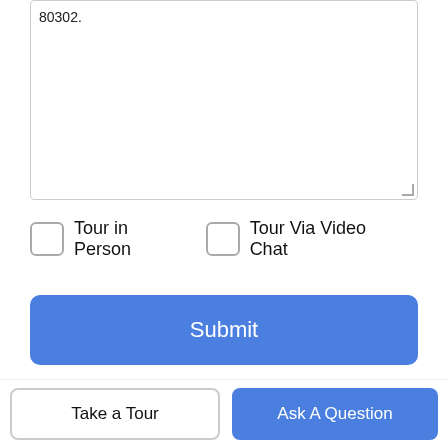80302.
Tour in Person
Tour Via Video Chat
Submit
Disclaimer: By entering your information and submitting this form, you agree to our Terms of Use and Privacy Policy and that you may be contacted by phone, text message and email about your inquiry.
Licensed in the State of Colorado, USA The content relating to real estate for sale in this Web site comes in part from the Internet Data eXchange (IDX) program of METROLIST, INC., DBA
Take a Tour
Ask A Question